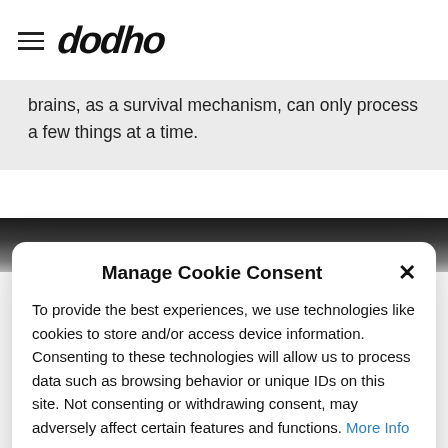dodho
brains, as a survival mechanism, can only process a few things at a time.
[Figure (photo): Dark monochrome photo strip showing a blurred/abstract image]
Manage Cookie Consent
To provide the best experiences, we use technologies like cookies to store and/or access device information. Consenting to these technologies will allow us to process data such as browsing behavior or unique IDs on this site. Not consenting or withdrawing consent, may adversely affect certain features and functions. More Info